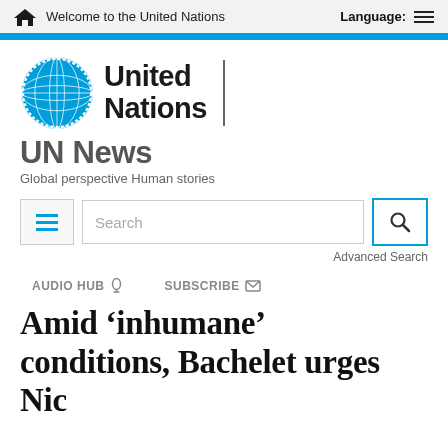Welcome to the United Nations | Language:
[Figure (logo): United Nations logo with emblem and text]
UN News
Global perspective Human stories
Search | Advanced Search
AUDIO HUB | SUBSCRIBE
Amid ‘inhumane’ conditions, Bachelet urges Nicaragua…